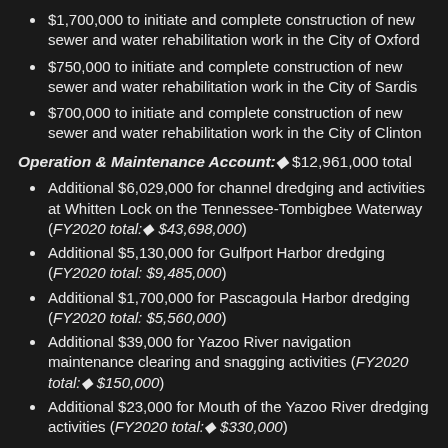$1,700,000 to initiate and complete construction of new sewer and water rehabilitation work in the City of Oxford
$750,000 to initiate and complete construction of new sewer and water rehabilitation work in the City of Sardis
$700,000 to initiate and complete construction of new sewer and water rehabilitation work in the City of Clinton
Operation & Maintenance Account: $12,961,000 total
Additional $6,029,000 for channel dredging and activities at Whitten Lock on the Tennessee-Tombigbee Waterway (FY2020 total: $43,698,000)
Additional $5,130,000 for Gulfport Harbor dredging (FY2020 total: $9,485,000)
Additional $1,700,000 for Pascagoula Harbor dredging (FY2020 total: $5,560,000)
Additional $39,000 for Yazoo River navigation maintenance clearing and snagging activities (FY2020 total: $150,000)
Additional $23,000 for Mouth of the Yazoo River dredging activities (FY2020 total: $330,000)